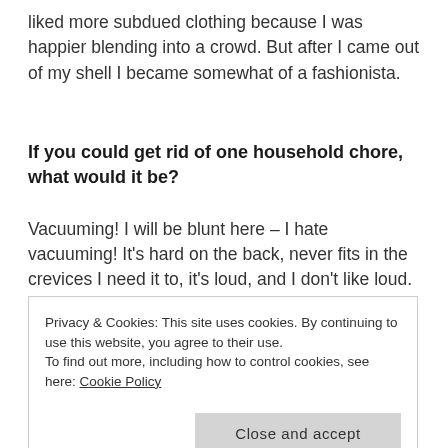liked more subdued clothing because I was happier blending into a crowd. But after I came out of my shell I became somewhat of a fashionista.
If you could get rid of one household chore, what would it be?
Vacuuming! I will be blunt here – I hate vacuuming! It's hard on the back, never fits in the crevices I need it to, it's loud, and I don't like loud. I could probably use a new one ones that go around the floors by themselves. I'm opened
Privacy & Cookies: This site uses cookies. By continuing to use this website, you agree to their use.
To find out more, including how to control cookies, see here: Cookie Policy
Close and accept